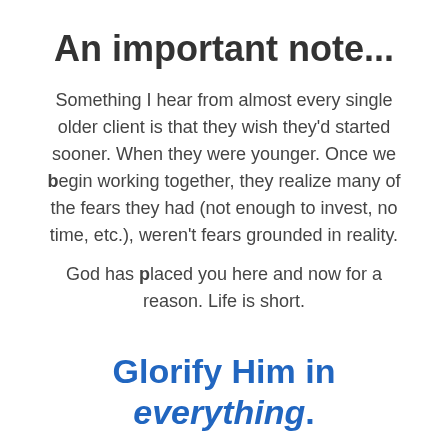An important note…
Something I hear from almost every single older client is that they wish they'd started sooner. When they were younger. Once we begin working together, they realize many of the fears they had (not enough to invest, no time, etc.), weren't fears grounded in reality.
God has placed you here and now for a reason. Life is short.
Glorify Him in everything.